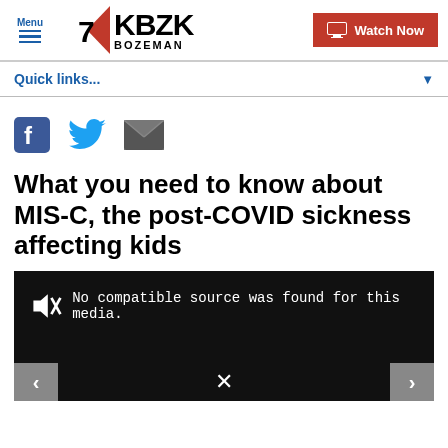Menu | 7 KBZK BOZEMAN | Watch Now
Quick links...
[Figure (other): Social sharing icons: Facebook, Twitter, Email]
What you need to know about MIS-C, the post-COVID sickness affecting kids
[Figure (other): Video player showing black screen with muted icon and message: No compatible source was found for this media. Navigation arrows on bottom left and right, close X at bottom center.]